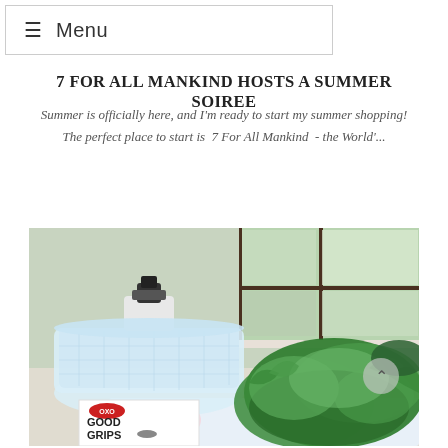≡ Menu
7 FOR ALL MANKIND HOSTS A SUMMER SOIREE
Summer is officially here, and I'm ready to start my summer shopping! The perfect place to start is  7 For All Mankind  - the World'...
[Figure (photo): Photo of a salad spinner (OXO brand) with fresh green lettuce on a table, with a window in the background showing greenery outside. An OXO Good Grips box is visible in the foreground.]